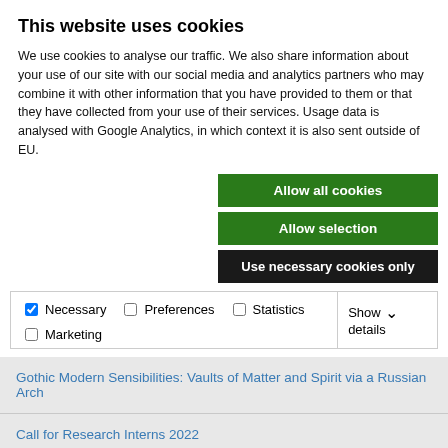This website uses cookies
We use cookies to analyse our traffic. We also share information about your use of our site with our social media and analytics partners who may combine it with other information that you have provided to them or that they have collected from your use of their services. Usage data is analysed with Google Analytics, in which context it is also sent outside of EU.
Allow all cookies
Allow selection
Use necessary cookies only
| ✓ Necessary | ☐ Preferences | ☐ Statistics | Show details ∨ |
| ☐ Marketing |  |  |  |
Gothic Modern Sensibilities: Vaults of Matter and Spirit via a Russian Arch
Call for Research Interns 2022
Editorial: Past, Present and Future
Gothic Modern